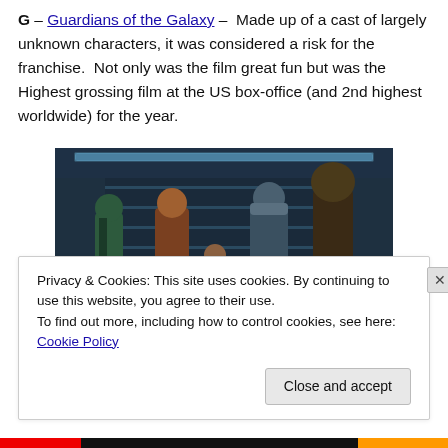G – Guardians of the Galaxy –  Made up of a cast of largely unknown characters, it was considered a risk for the franchise.  Not only was the film great fun but was the Highest grossing film at the US box-office (and 2nd highest worldwide) for the year.
[Figure (photo): Photo of the Guardians of the Galaxy cast posing in a line in a sci-fi interior: Gamora (green-skinned woman), Star-Lord (man in brown jacket), Rocket Raccoon (small raccoon creature), Drax (muscular man), and Groot (large tree creature).]
Privacy & Cookies: This site uses cookies. By continuing to use this website, you agree to their use.
To find out more, including how to control cookies, see here: Cookie Policy